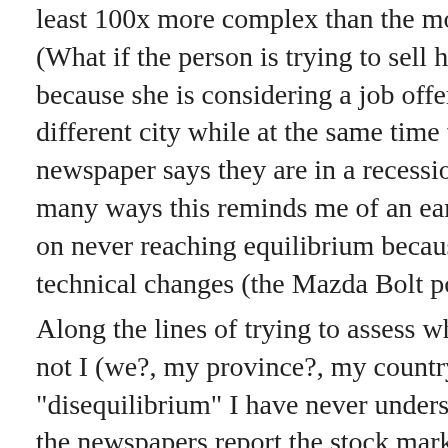least 100x more complex than the model. (What if the person is trying to sell her house because she is considering a job offer in a different city while at the same time the newspaper says they are in a recession!) In many ways this reminds me of an earlier post on never reaching equilibrium because of technical changes (the Mazda Bolt post).
Along the lines of trying to assess whether or not I (we?, my province?, my country?) am in "disequilibrium" I have never understood why the newspapers report the stock market on a daily basis. (or